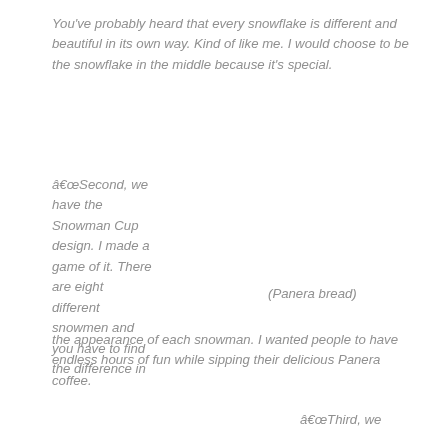You've probably heard that every snowflake is different and beautiful in its own way. Kind of like me. I would choose to be the snowflake in the middle because it's special.
“Second, we have the Snowman Cup design. I made a game of it. There are eight different snowmen and you have to find the difference in the appearance of each snowman. I wanted people to have endless hours of fun while sipping their delicious Panera coffee.
(Panera bread)
“Third, we